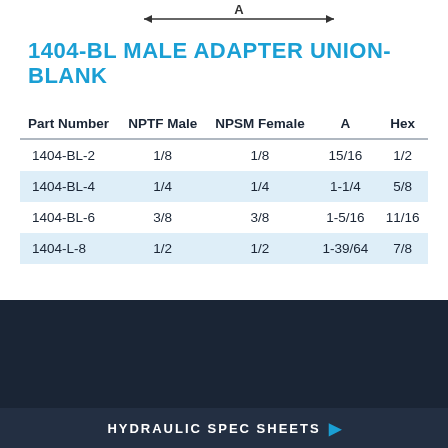[Figure (schematic): Dimension diagram showing measurement A with arrows spanning the length of a male adapter union fitting]
1404-BL MALE ADAPTER UNION-BLANK
| Part Number | NPTF Male | NPSM Female | A | Hex |
| --- | --- | --- | --- | --- |
| 1404-BL-2 | 1/8 | 1/8 | 15/16 | 1/2 |
| 1404-BL-4 | 1/4 | 1/4 | 1-1/4 | 5/8 |
| 1404-BL-6 | 3/8 | 3/8 | 1-5/16 | 11/16 |
| 1404-L-8 | 1/2 | 1/2 | 1-39/64 | 7/8 |
HYDRAULIC SPEC SHEETS